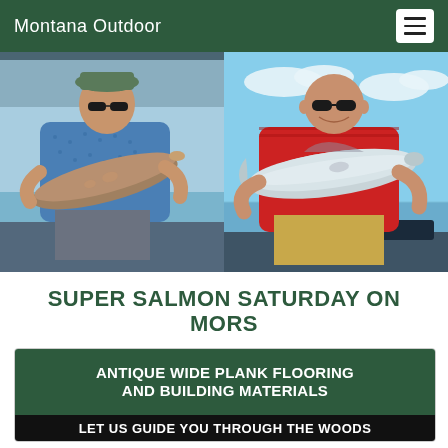Montana Outdoor
[Figure (photo): Two side-by-side photos of men holding large salmon/trout on boats on open water. Left photo: man in blue patterned shirt and cap holding a large brown/orange fish. Right photo: man in red shirt and sunglasses holding a large silver fish.]
SUPER SALMON SATURDAY ON MORS
[Figure (infographic): Advertisement with dark green background reading 'ANTIQUE WIDE PLANK FLOORING AND BUILDING MATERIALS' and a black bar at bottom reading 'LET US GUIDE YOU THROUGH THE WOODS']